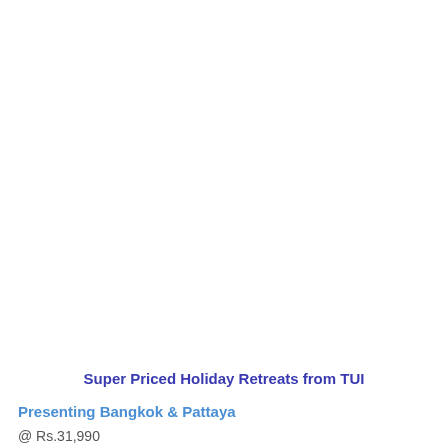Super Priced Holiday Retreats from TUI
Presenting Bangkok & Pattaya
@ Rs.31,990